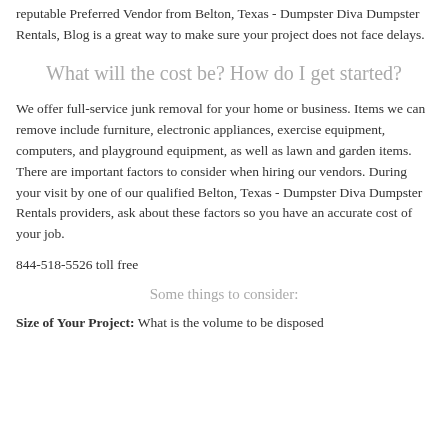reputable Preferred Vendor from Belton, Texas - Dumpster Diva Dumpster Rentals, Blog is a great way to make sure your project does not face delays.
What will the cost be? How do I get started?
We offer full-service junk removal for your home or business. Items we can remove include furniture, electronic appliances, exercise equipment, computers, and playground equipment, as well as lawn and garden items. There are important factors to consider when hiring our vendors. During your visit by one of our qualified Belton, Texas - Dumpster Diva Dumpster Rentals providers, ask about these factors so you have an accurate cost of your job.
844-518-5526 toll free
Some things to consider:
Size of Your Project: What is the volume to be disposed